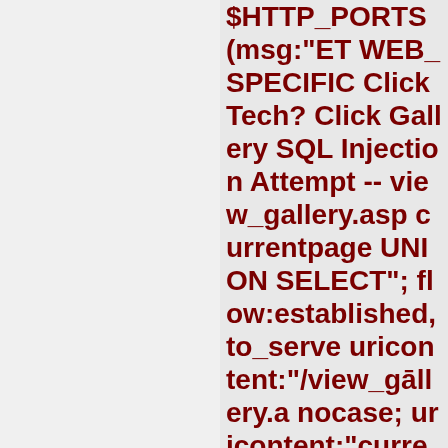$HTTP_PORTS (msg:"ET WEB_SPECIFIC ClickTech? Click Gallery SQL Injection Attempt -- view_gallery.asp currentpage UNION SELECT"; flow:established,to_server; uricontent:"/view_gallery.asp"; nocase; uricontent:"currentpage="; nocase; uricontent:"UNION"; nocase; pcre:"/.+UNION\s+SELECT; classtype:web-application-attack; reference:cve,CVE-2006-6187; reference:url,www.securityfocus...; sid:2007230; rev:2;)